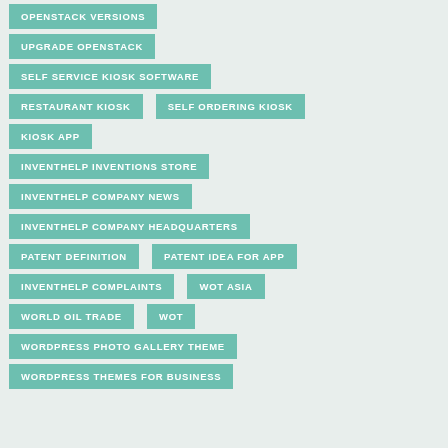OPENSTACK VERSIONS
UPGRADE OPENSTACK
SELF SERVICE KIOSK SOFTWARE
RESTAURANT KIOSK
SELF ORDERING KIOSK
KIOSK APP
INVENTHELP INVENTIONS STORE
INVENTHELP COMPANY NEWS
INVENTHELP COMPANY HEADQUARTERS
PATENT DEFINITION
PATENT IDEA FOR APP
INVENTHELP COMPLAINTS
WOT ASIA
WORLD OIL TRADE
WOT
WORDPRESS PHOTO GALLERY THEME
WORDPRESS THEMES FOR BUSINESS